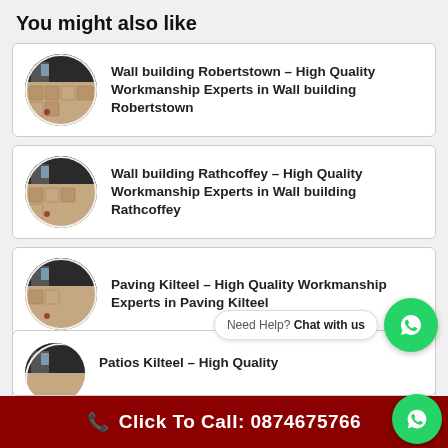You might also like
Wall building Robertstown – High Quality Workmanship Experts in Wall building Robertstown
Wall building Rathcoffey – High Quality Workmanship Experts in Wall building Rathcoffey
Paving Kilteel – High Quality Workmanship Experts in Paving Kilteel
Wall building Cutbush – High Quality Workmanship Experts in Wall building Cutbush
Patios Kilteel – High Quality
Need Help? Chat with us
Click To Call: 0874675766